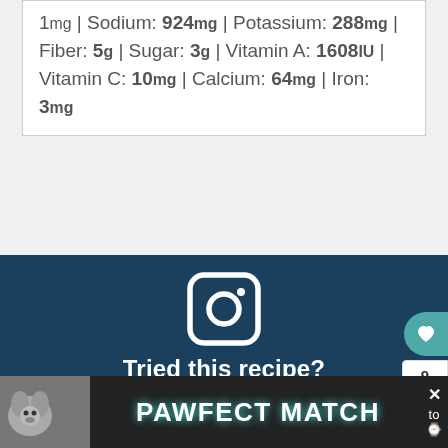1mg | Sodium: 924mg | Potassium: 288mg | Fiber: 5g | Sugar: 3g | Vitamin A: 1608IU | Vitamin C: 10mg | Calcium: 64mg | Iron: 3mg
[Figure (illustration): Instagram logo icon in white on dark teal background, with text: Tried this recipe? Mention @thiswifecooks or tag #thiswifecooks!]
Subscribe to This Wife Cooks!
[Figure (infographic): WHAT'S NEXT -> Pumpkin Strudel widget with food image thumbnail]
[Figure (infographic): PAWFECT MATCH advertisement banner with dog image on black background]